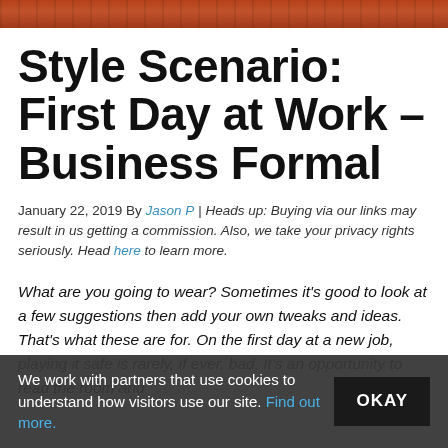[Figure (photo): Partial photo strip at the top of the page showing a person against a brick wall background]
Style Scenario: First Day at Work – Business Formal
January 22, 2019 By Jason P | Heads up: Buying via our links may result in us getting a commission. Also, we take your privacy rights seriously. Head here to learn more.
What are you going to wear? Sometimes it's good to look at a few suggestions then add your own tweaks and ideas. That's what these are for. On the first day at a new job, playing it safe is rarely, if ever, bad. It's an opportunity to read the room and
We work with partners that use cookies to understand how visitors use our site. Find out more.